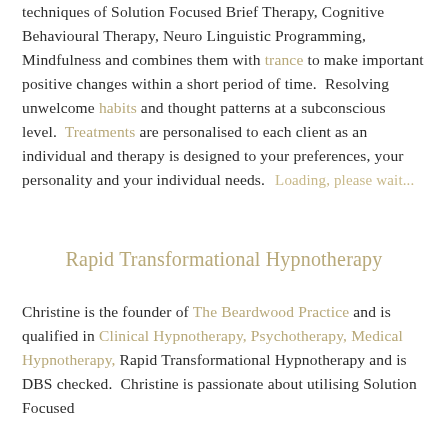techniques of Solution Focused Brief Therapy, Cognitive Behavioural Therapy, Neuro Linguistic Programming, Mindfulness and combines them with trance to make important positive changes within a short period of time.  Resolving unwelcome habits and thought patterns at a subconscious level.  Treatments are personalised to each client as an individual and therapy is designed to your preferences, your personality and your individual needs.   Loading, please wait...
Rapid Transformational Hypnotherapy
Christine is the founder of The Beardwood Practice and is qualified in Clinical Hypnotherapy, Psychotherapy, Medical Hypnotherapy, Rapid Transformational Hypnotherapy and is DBS checked.  Christine is passionate about utilising Solution Focused